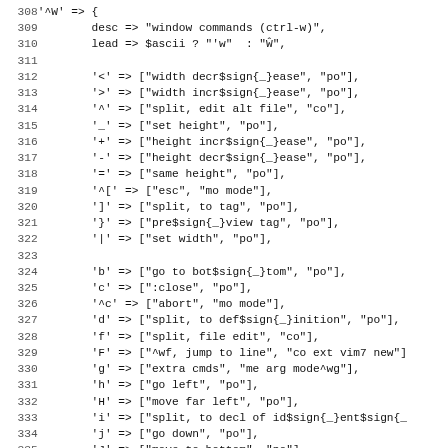[Figure (other): Source code listing (Perl/data structure), lines 308–339, showing window command key mappings]